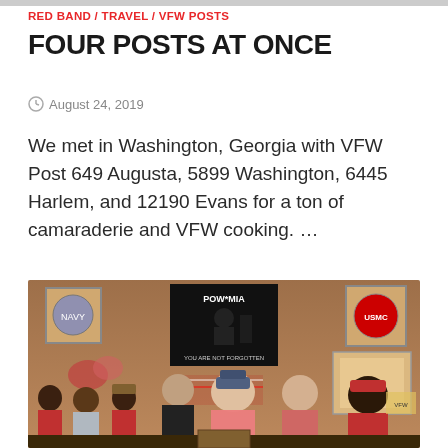RED BAND / TRAVEL / VFW POSTS
FOUR POSTS AT ONCE
August 24, 2019
We met in Washington, Georgia with VFW Post 649 Augusta, 5899 Washington, 6445 Harlem, and 12190 Evans for a ton of camaraderie and VFW cooking. …
[Figure (photo): Group photo of VFW members inside a VFW hall, with a POW/MIA flag and military plaques/frames visible on the wall behind them. Several people in red shirts and hats stand together.]